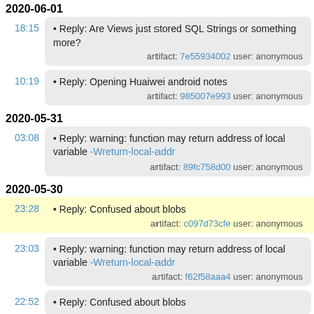2020-06-01
18:15 • Reply: Are Views just stored SQL Strings or something more? artifact: 7e55934002 user: anonymous
10:19 • Reply: Opening Huaiwei android notes artifact: 985007e993 user: anonymous
2020-05-31
03:08 • Reply: warning: function may return address of local variable -Wreturn-local-addr artifact: 89fc758d00 user: anonymous
2020-05-30
23:28 • Reply: Confused about blobs artifact: c097d73cfe user: anonymous
23:03 • Reply: warning: function may return address of local variable -Wreturn-local-addr artifact: f62f58aaa4 user: anonymous
22:52 • Reply: Confused about blobs